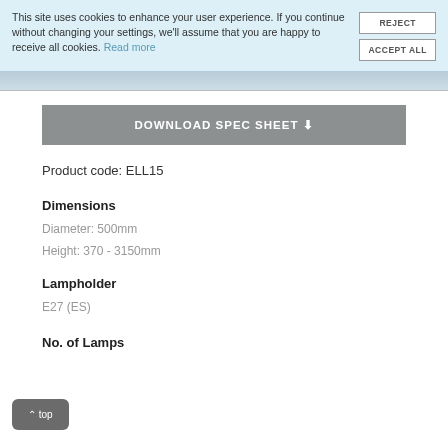This site uses cookies to enhance your user experience. If you continue without changing your settings, we'll assume that you are happy to receive all cookies. Read more
Product code: ELL15
Dimensions
Diameter: 500mm
Height: 370 - 3150mm
Lampholder
E27 (ES)
No. of Lamps